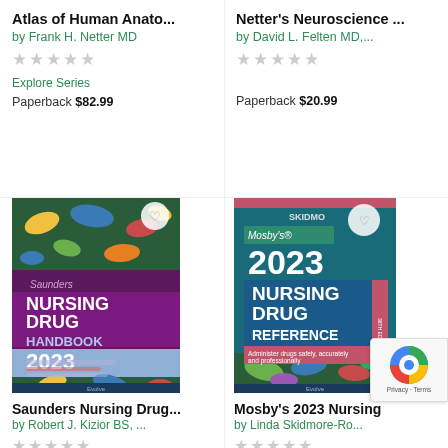Atlas of Human Anato...
by Frank H. Netter MD
Explore Series
Paperback $82.99
Netter's Neuroscience ...
by David L. Felten MD,...
Paperback $20.99
[Figure (photo): Saunders Nursing Drug Handbook 2023 book cover with colorful pills]
Saunders Nursing Drug...
by Robert J. Kizior BS, ...
[Figure (photo): Mosby's 2023 Nursing Drug Reference book cover with pills and teal background]
Mosby's 2023 Nursing...
by Linda Skidmore-Ro...